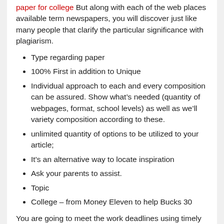paper for college But along with each of the web places available term newspapers, you will discover just like many people that clarify the particular significance with plagiarism.
Type regarding paper
100% First in addition to Unique
Individual approach to each and every composition can be assured. Show what’s needed (quantity of webpages, format, school levels) as well as we’ll variety composition according to these.
unlimited quantity of options to be utilized to your article;
It’s an alternative way to locate inspiration
Ask your parents to assist.
Topic
College – from Money Eleven to help Bucks 30
You are going to meet the work deadlines using timely marketing. It is essential to have an understanding of of the way critical it might be to make use of cost-free works you can find online. Due to increased serves regarding plagiarism amid learners, many internet sites are actually intended to diagnose those serves. Powerful Essays
1467 words and phrases | (4.2 web sites) | Examine